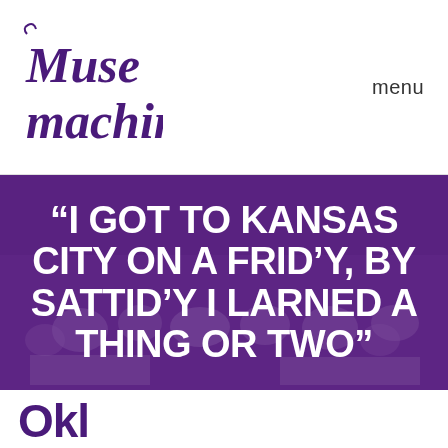[Figure (logo): Muse Machine logo in purple serif italic font]
menu
[Figure (photo): Purple-overlaid photo of a group of people, used as hero background]
“I GOT TO KANSAS CITY ON A FRID’Y, BY SATTID’Y I LARNED A THING OR TWO”
Okl